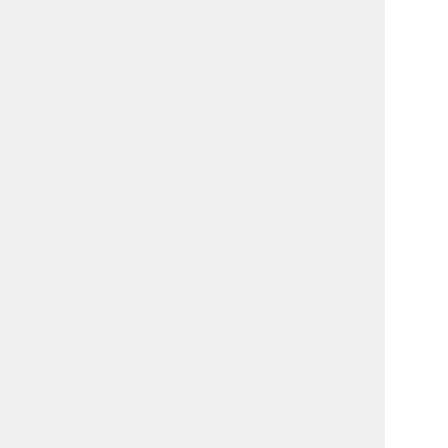user. The form may be accessed via the MEG Lab website at: http://kurage.nimh.nih.gov/meglab under User Information → Becoming a User.
2. All the requested information must be provided, such as the protocol #, PI's last name and the name of the person who be in the MEG Lab running the study. In addition, we must have a cell phone number so that we can contact you in an "emergency".
3. The username will be